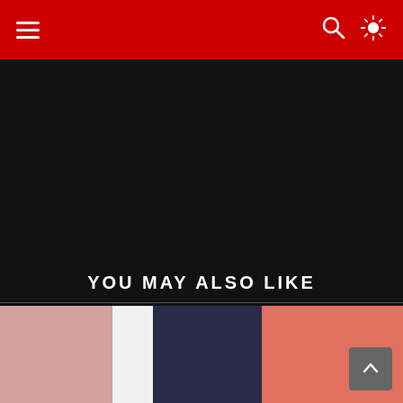Navigation header with hamburger menu, search icon, and light mode toggle
[Figure (photo): Large dark/black content area occupying the upper middle portion of the page]
YOU MAY ALSO LIKE
[Figure (photo): Photo showing two people, one in a dark navy top and one in a coral/salmon pink sweatshirt, in an indoor setting with pink walls]